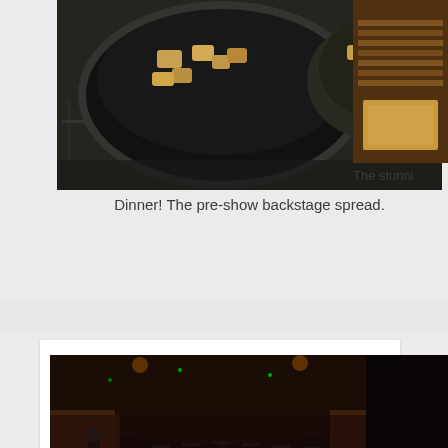[Figure (photo): Pre-show backstage food spread with dark bowls of appetizers/canapés on a dark table]
Dinner! The pre-show backstage spread.
[Figure (photo): Partially visible photo of a stunning concert hall interior from above]
The stunni
[Figure (photo): Concert hall stage with orchestra chairs and music stands set up, wide angle view of the wooden stage floor and curved hall walls]
Setting up, warming up for the people of
[Figure (photo): Partially visible dark photo, possibly of a performer in red on stage]